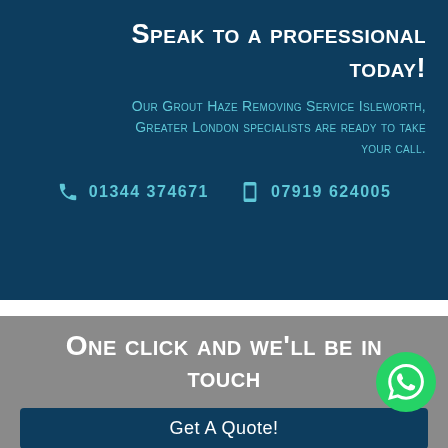Speak to a professional today!
Our Grout Haze Removing Service Isleworth, Greater London specialists are ready to take your call.
01344 374671   07919 624005
One click and we'll be in touch
Get A Quote!